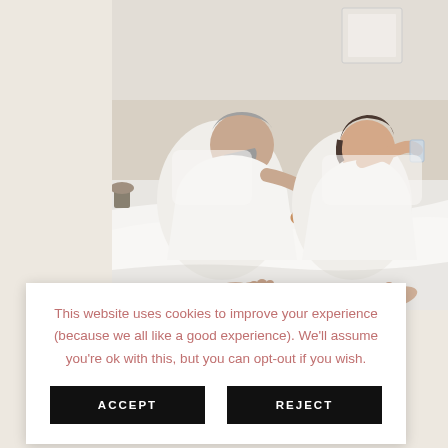[Figure (photo): An older couple in white robes relaxing on a bed with white sheets. The man on the left has a grey beard and is eating something. The woman on the right is drinking from a glass. Their feet are visible at the bottom of the image.]
more retirement ace and t can be , health and
This website uses cookies to improve your experience (because we all like a good experience). We'll assume you're ok with this, but you can opt-out if you wish.
ACCEPT
REJECT